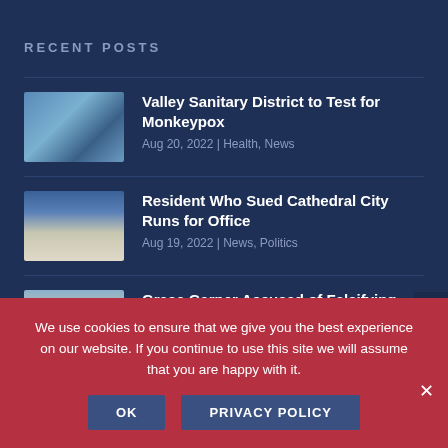RECENT POSTS
Valley Sanitary District to Test for Monkeypox
Aug 20, 2022 | Health, News
Resident Who Sued Cathedral City Runs for Office
Aug 19, 2022 | News, Politics
Grace Garner Accused of Falsifying Endorsements
We use cookies to ensure that we give you the best experience on our website. If you continue to use this site we will assume that you are happy with it.
OK   PRIVACY POLICY